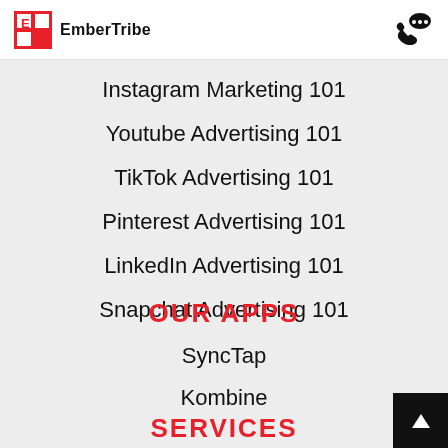EmberTribe
Instagram Marketing 101
Youtube Advertising 101
TikTok Advertising 101
Pinterest Advertising 101
LinkedIn Advertising 101
Snapchat Advertising 101
OUR APPS
SyncTap
Kombine
SERVICES